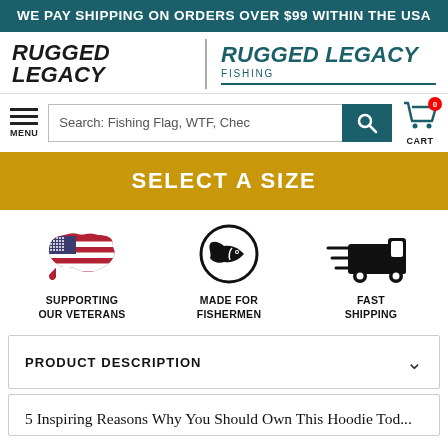WE PAY SHIPPING ON ORDERS OVER $99 WITHIN THE USA
[Figure (logo): Rugged Legacy and Rugged Legacy Fishing logos side by side with divider]
[Figure (screenshot): Navigation bar with hamburger menu, search bar (Search: Fishing Flag, WTF, Chec...), search button, and cart icon with 0 badge]
SELECT A SIZE
[Figure (infographic): Three feature icons: USA map with flag (Supporting Our Veterans), fish icon in circle (Made For Fishermen), delivery truck (Fast Shipping)]
PRODUCT DESCRIPTION
5 Inspiring Reasons Why You Should Own This Hoodie Today...